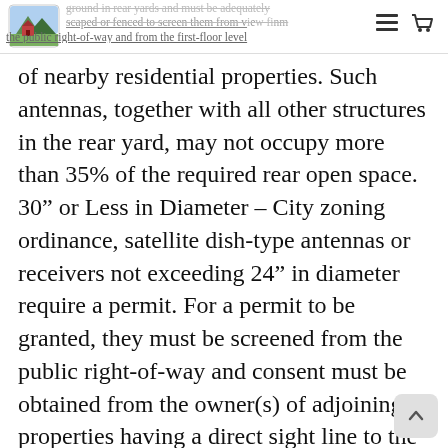ground in rear yards and must be adequately landscaped or fenced to screen them from view from the public right-of-way and from the first-floor level
of nearby residential properties. Such antennas, together with all other structures in the rear yard, may not occupy more than 35% of the required rear open space. 30” or Less in Diameter – City zoning ordinance, satellite dish-type antennas or receivers not exceeding 24” in diameter require a permit. For a permit to be granted, they must be screened from the public right-of-way and consent must be obtained from the owner(s) of adjoining properties having a direct sight line to the proposed location of the dish. If a permit is not granted by the city administration, an appeal may be made to the City Council.